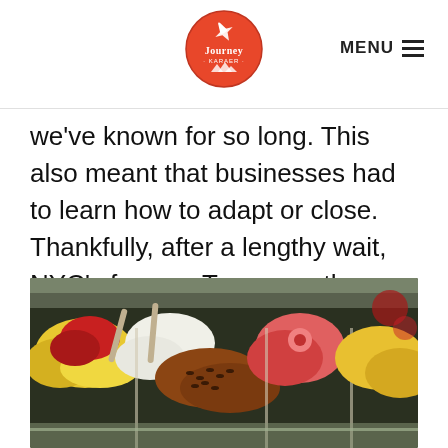Journey Karaen — MENU
we've known for so long. This also meant that businesses had to learn how to adapt or close. Thankfully, after a lengthy wait, NYC's famous Tavern on the Green is finally…
[Figure (photo): Close-up photo of colorful gelato flavors in a display case, showing various scooped mounds of ice cream in yellows, reds, and chocolate toppings.]